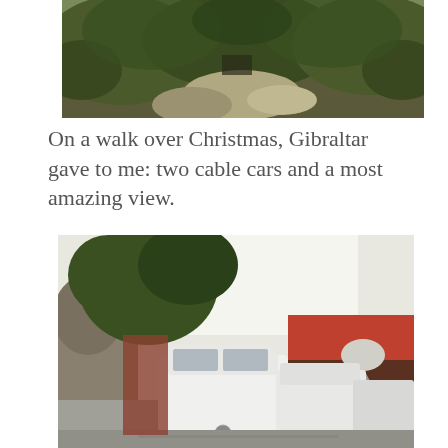[Figure (photo): Outdoor photo showing rocky terrain with dense green vegetation/trees and a rocky cliff or boulders, with a dark structure partially visible among the rocks. Taken from above or at an angle.]
On a walk over Christmas, Gibraltar gave to me: two cable cars and a most amazing view.
[Figure (photo): Street photo showing white Mercedes vans/minibuses in traffic on a road in Gibraltar. Trees and rocky hillside visible on the left, red buildings with a satellite dish on the right, bright sky in the background.]